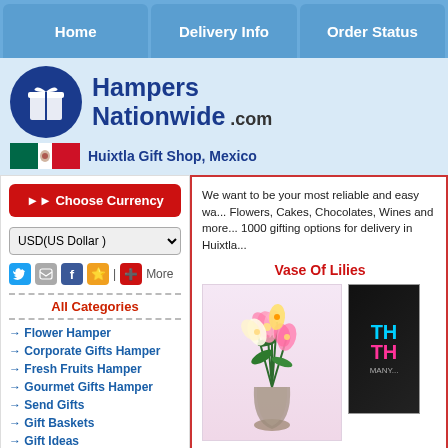Home | Delivery Info | Order Status
[Figure (logo): Hampers Nationwide .com logo with blue circle gift icon and Huixtla Gift Shop, Mexico with Mexican flag]
Choose Currency
USD(US Dollar )
All Categories
Flower Hamper
Corporate Gifts Hamper
Fresh Fruits Hamper
Gourmet Gifts Hamper
Send Gifts
Gift Baskets
Gift Ideas
Send Hampers
We want to be your most reliable and easy wa... Flowers, Cakes, Chocolates, Wines and more... 1000 gifting options for delivery in Huixtla...
Vase Of Lilies
[Figure (photo): Vase of pink and white lilies with green leaves]